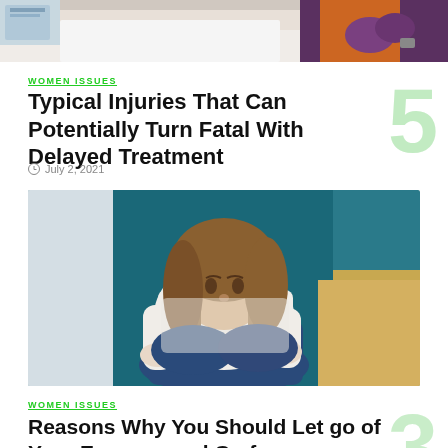[Figure (photo): Top portion of a medical scene showing a patient and healthcare workers with purple gloves]
WOMEN ISSUES
Typical Injuries That Can Potentially Turn Fatal With Delayed Treatment
July 2, 2021
[Figure (photo): Young woman with long blonde hair sitting on floor, hugging her knees, looking distressed, wearing a white knit sweater and jeans, against a teal background]
WOMEN ISSUES
Reasons Why You Should Let go of Your Excuses and Go for a